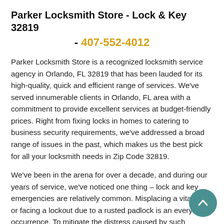Parker Locksmith Store - Lock & Key 32819
- 407-552-4012
Parker Locksmith Store is a recognized locksmith service agency in Orlando, FL 32819 that has been lauded for its high-quality, quick and efficient range of services. We've served innumerable clients in Orlando, FL area with a commitment to provide excellent services at budget-friendly prices. Right from fixing locks in homes to catering to business security requirements, we've addressed a broad range of issues in the past, which makes us the best pick for all your locksmith needs in Zip Code 32819.
We've been in the arena for over a decade, and during our years of service, we've noticed one thing – lock and key emergencies are relatively common. Misplacing a vital key or facing a lockout due to a rusted padlock is an everyday occurrence. To mitigate the distress caused by such